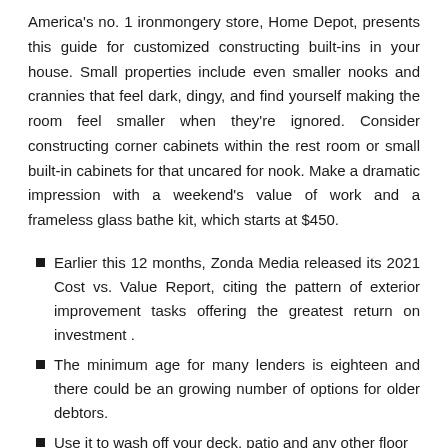America's no. 1 ironmongery store, Home Depot, presents this guide for customized constructing built-ins in your house. Small properties include even smaller nooks and crannies that feel dark, dingy, and find yourself making the room feel smaller when they're ignored. Consider constructing corner cabinets within the rest room or small built-in cabinets for that uncared for nook. Make a dramatic impression with a weekend's value of work and a frameless glass bathe kit, which starts at $450.
Earlier this 12 months, Zonda Media released its 2021 Cost vs. Value Report, citing the pattern of exterior improvement tasks offering the greatest return on investment .
The minimum age for many lenders is eighteen and there could be an growing number of options for older debtors.
Use it to wash off your deck, patio and any other floor